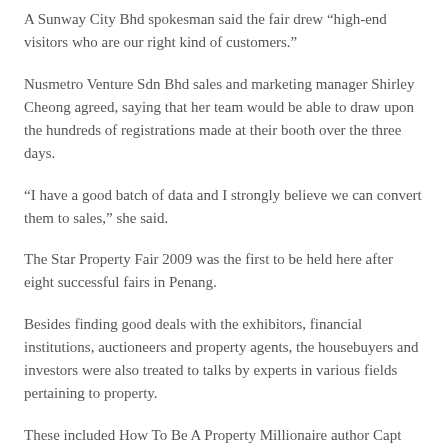A Sunway City Bhd spokesman said the fair drew “high-end visitors who are our right kind of customers.”
Nusmetro Venture Sdn Bhd sales and marketing manager Shirley Cheong agreed, saying that her team would be able to draw upon the hundreds of registrations made at their booth over the three days.
“I have a good batch of data and I strongly believe we can convert them to sales,” she said.
The Star Property Fair 2009 was the first to be held here after eight successful fairs in Penang.
Besides finding good deals with the exhibitors, financial institutions, auctioneers and property agents, the housebuyers and investors were also treated to talks by experts in various fields pertaining to property.
These included How To Be A Property Millionaire author Capt Azizi Ali, fengshui masters Joey Yap and Danny Koh,